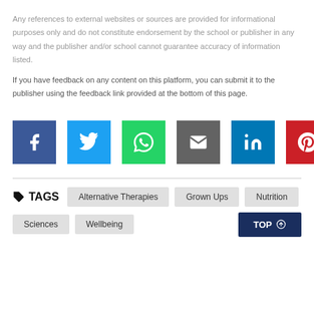Any references to external websites or sources are provided for informational purposes only and do not constitute endorsement by the school or publisher in any way and the publisher and/or school cannot guarantee accuracy of information listed.
If you have feedback on any content on this platform, you can submit it to the publisher using the feedback link provided at the bottom of this page.
[Figure (other): Row of social media sharing buttons: Facebook (blue), Twitter (light blue), WhatsApp (green), Email (gray), LinkedIn (blue), Pinterest (red)]
TAGS  Alternative Therapies  Grown Ups  Nutrition  Sciences  Wellbeing  TOP